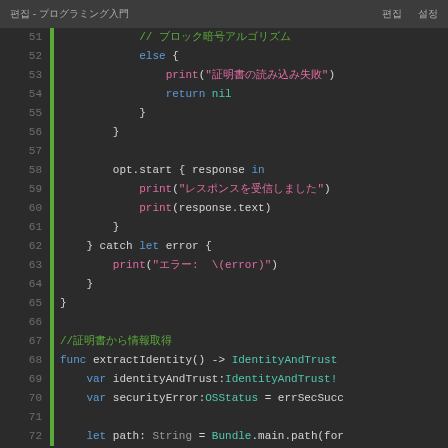편집 - プログラミング入門
[Figure (screenshot): Swift code editor screenshot showing lines 51-72 with syntax highlighting. Code includes else block with print and return nil, opt.start closure, catch block, extractIdentity function declaration, and variable declarations.]